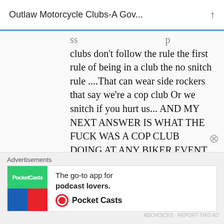Outlaw Motorcycle Clubs-A Gov...
clubs don't follow the rule the first rule of being in a club the no snitch rule ....That can wear side rockers that say we're a cop club Or we snitch if you hurt us... AND MY NEXT ANSWER IS WHAT THE FUCK WAS A COP CLUB DOING AT ANY BIKER EVENT IN THE FRIST PLACE !!!!! WHERE THEY ON THE JOB , UNDER COVER , WHAT THE FUCK PEOPLE WAKE UP !!! WE HAVE PATCH HOLDERS THAT CANT GO
[Figure (infographic): Advertisement banner for Pocket Casts podcast app with colorful logo and text 'The go-to app for podcast lovers.']